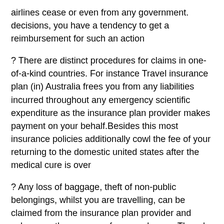airlines cease or even from any government. decisions, you have a tendency to get a reimbursement for such an action
? There are distinct procedures for claims in one-of-a-kind countries. For instance Travel insurance plan (in) Australia frees you from any liabilities incurred throughout any emergency scientific expenditure as the insurance plan provider makes payment on your behalf.Besides this most insurance policies additionally cowl the fee of your returning to the domestic united states after the medical cure is over
? Any loss of baggage, theft of non-public belongings, whilst you are travelling, can be claimed from the insurance plan provider and subsequently saves you from any losses. Though one desires to abide via the restriction restrictions to the quantity of valuables you can raise and extra so the insurance plan providers reimburse you for a positive proportion of the value of loss incurred
? Any unfortunate incident where you cease up in a